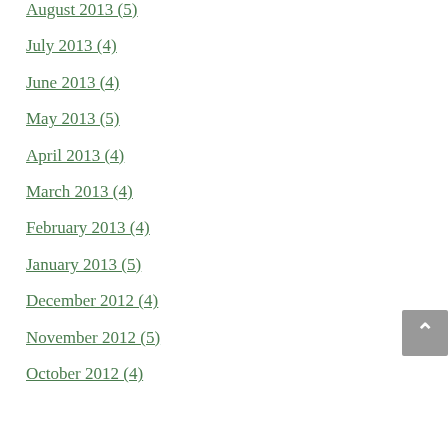August 2013 (5)
July 2013 (4)
June 2013 (4)
May 2013 (5)
April 2013 (4)
March 2013 (4)
February 2013 (4)
January 2013 (5)
December 2012 (4)
November 2012 (5)
October 2012 (4)